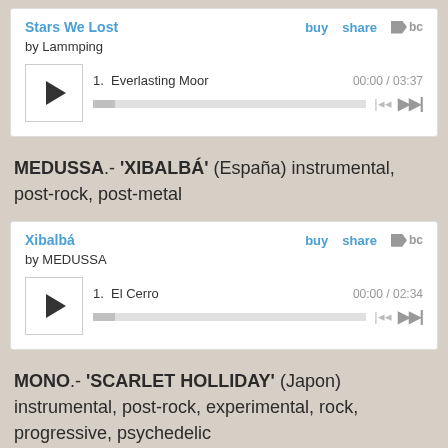[Figure (screenshot): Bandcamp music player for 'Stars We Lost' by Lammping, showing track 1: Everlasting Moor, 00:00 / 03:37]
MEDUSSA.- 'XIBALBÁ' (España) instrumental, post-rock, post-metal
[Figure (screenshot): Bandcamp music player for 'Xibalbá' by MEDUSSA, showing track 1: El Cerro, 00:00 / 02:34]
MONO.- 'SCARLET HOLLIDAY' (Japon) instrumental, post-rock, experimental, rock, progressive, psychedelic